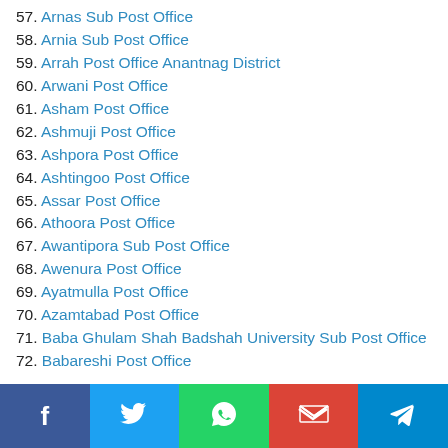57. Arnas Sub Post Office
58. Arnia Sub Post Office
59. Arrah Post Office Anantnag District
60. Arwani Post Office
61. Asham Post Office
62. Ashmuji Post Office
63. Ashpora Post Office
64. Ashtingoo Post Office
65. Assar Post Office
66. Athoora Post Office
67. Awantipora Sub Post Office
68. Awenura Post Office
69. Ayatmulla Post Office
70. Azamtabad Post Office
71. Baba Ghulam Shah Badshah University Sub Post Office
72. Babareshi Post Office
[Figure (other): Social media share buttons bar: Facebook, Twitter, WhatsApp, Gmail, Telegram]